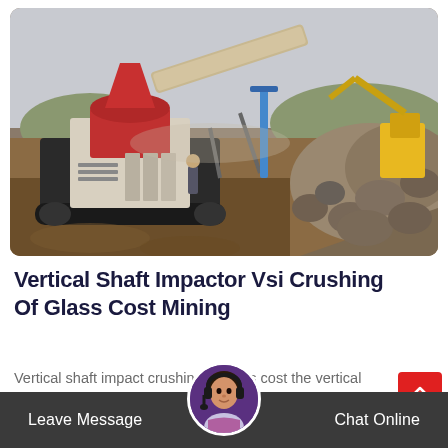[Figure (photo): Mining site with large stone crushing and processing machinery including a cone crusher on tracked vehicle, conveyor belt, and excavator in background, with large pile of rocks on the right side]
Vertical Shaft Impactor Vsi Crushing Of Glass Cost Mining
Vertical shaft impactor crushing of glass cost the vertical shaft impactor is a type of impact crushers that offers higher reduction
Leave Message
Chat Online